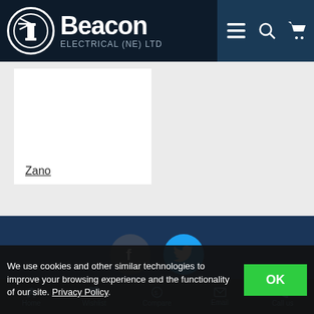[Figure (logo): Beacon Electrical (NE) Ltd logo with lighthouse icon on dark navy header]
Zano
[Figure (other): Social media buttons: Facebook (dark) and Twitter (blue) circular icons on dark blue background]
We use cookies and other similar technologies to improve your browsing experience and the functionality of our site. Privacy Policy.
Home   Wishlist   Compare   Email   Call us